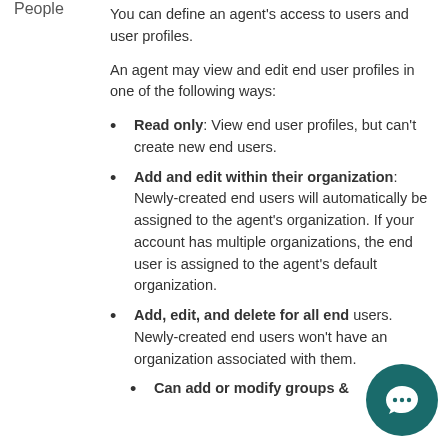People
You can define an agent's access to users and user profiles.
An agent may view and edit end user profiles in one of the following ways:
Read only: View end user profiles, but can't create new end users.
Add and edit within their organization: Newly-created end users will automatically be assigned to the agent's organization. If your account has multiple organizations, the end user is assigned to the agent's default organization.
Add, edit, and delete for all end users. Newly-created end users won't have an organization associated with them.
Can add or modify groups &